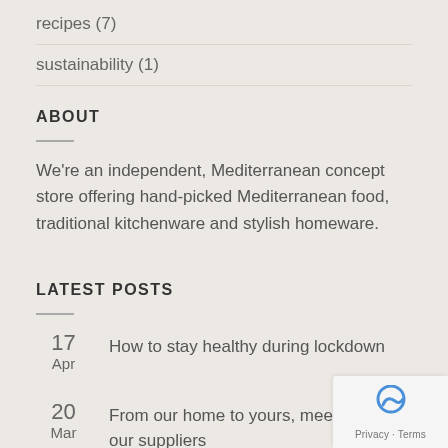recipes (7)
sustainability (1)
ABOUT
We're an independent, Mediterranean concept store offering hand-picked Mediterranean food, traditional kitchenware and stylish homeware.
LATEST POSTS
17 Apr — How to stay healthy during lockdown
20 Mar — From our home to yours, meet some of our suppliers